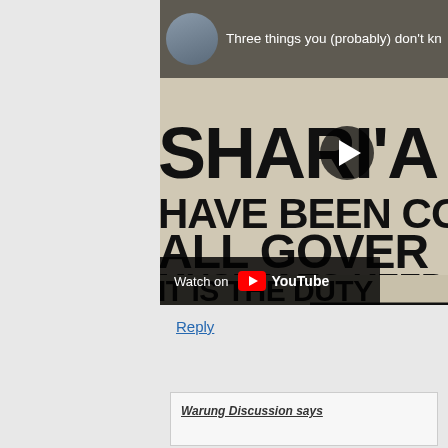[Figure (screenshot): YouTube video thumbnail showing a man's avatar and title 'Three things you (probably) don't know' overlaid on an image of a sign with text about Sharia law: 'SHARI'A', 'HAVE BEEN CON', 'ALL GOVER', 'MUSLIM TO KEEP ST', 'IT IS THE DUTY'. A play button is overlaid. A 'Watch on YouTube' bar appears at the bottom of the video.]
Reply
Warung Discussion says